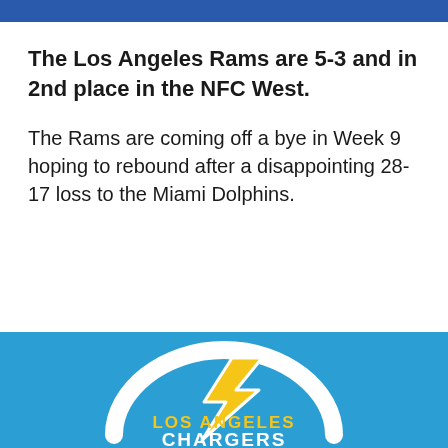The Los Angeles Rams are 5-3 and in 2nd place in the NFC West.
The Rams are coming off a bye in Week 9 hoping to rebound after a disappointing 28-17 loss to the Miami Dolphins.
[Figure (logo): Los Angeles Chargers team logo with lightning bolt and arch on blue background, with 'LOS ANGELES CHARGERS' text in gold and white]